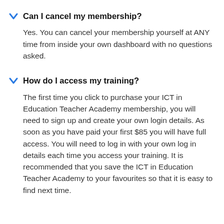Can I cancel my membership?
Yes. You can cancel your membership yourself at ANY time from inside your own dashboard with no questions asked.
How do I access my training?
The first time you click to purchase your ICT in Education Teacher Academy membership, you will need to sign up and create your own login details. As soon as you have paid your first $85 you will have full access. You will need to log in with your own log in details each time you access your training. It is recommended that you save the ICT in Education Teacher Academy to your favourites so that it is easy to find next time.